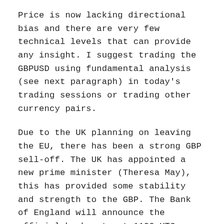Price is now lacking directional bias and there are very few technical levels that can provide any insight. I suggest trading the GBPUSD using fundamental analysis (see next paragraph) in today's trading sessions or trading other currency pairs.
Due to the UK planning on leaving the EU, there has been a strong GBP sell-off. The UK has appointed a new prime minister (Theresa May), this has provided some stability and strength to the GBP. The Bank of England will announce the official bank rate at 1100 UTC. Most experts are expecting a cut in interest rates by 0.25%. I believe markets have adjusted according to this forecast so we may not see a major price swing if rates are cut as expected. If the rate is not cut or cut more than expected, GBP pairs may be very volatile and there could be some large price swings. The future